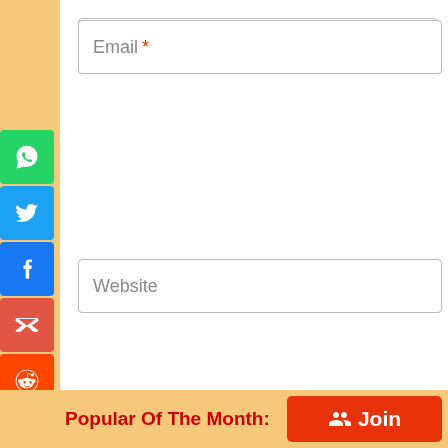Email *
Website
Post Comment
[Figure (infographic): Grid of social media share icons: WhatsApp, Twitter, Facebook, Gmail, Reddit, Email/Envelope, Pinterest, Tumblr, LinkedIn, More(+)]
Popular Of The Month:
Join